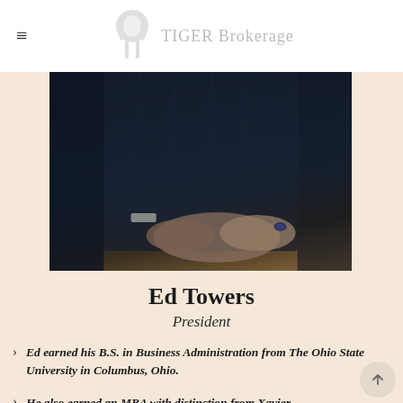TIGER Brokerage
[Figure (photo): Photo of Ed Towers, a man in a dark suit with his hands clasped on a table, wearing a ring.]
Ed Towers
President
Ed earned his B.S. in Business Administration from The Ohio State University in Columbus, Ohio.
He also earned an MBA with distinction from Xavier...